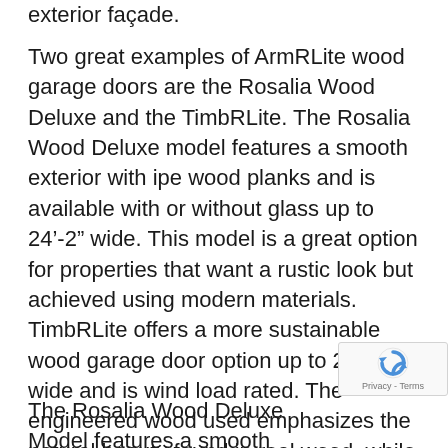exterior façade.
Two great examples of ArmRLite wood garage doors are the Rosalia Wood Deluxe and the TimbRLite. The Rosalia Wood Deluxe model features a smooth exterior with ipe wood planks and is available with or without glass up to 24'-2" wide. This model is a great option for properties that want a rustic look but achieved using modern materials. TimbRLite offers a more sustainable wood garage door option up to 20'-2" wide and is wind load rated. The engineered wood used emphasizes the natural beauty found in real wood, while offering less maintenance. These panels come in over 25 finishes and dozens of design options.
The Rosalia Wood Deluxe Model features a smooth exterior with ipe wood planks and is